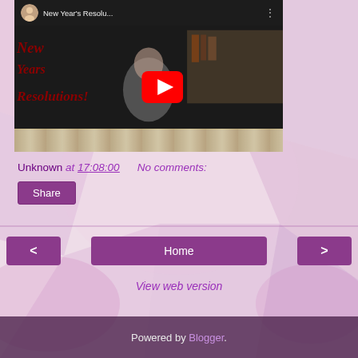[Figure (screenshot): Embedded YouTube video thumbnail showing 'New Year's Resolu...' with a play button overlay, dark header bar with channel icon and title, and decorative floral strip at bottom. Text on video reads 'New Years Resolutions!' in dark red italic font.]
Unknown at 17:08:00    No comments:
Share
Home
View web version
Powered by Blogger.